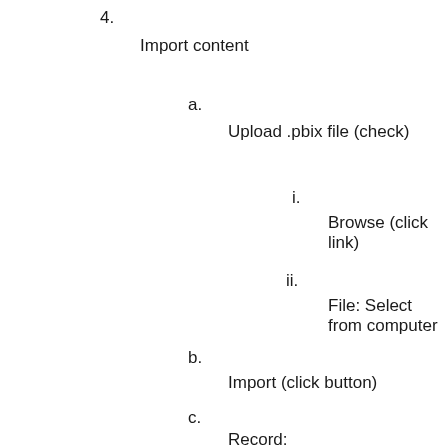4.
    Import content
a.
    Upload .pbix file (check)
i.
    Browse (click link)
ii.
    File: Select from computer
b.
    Import (click button)
c.
    Record:
a.